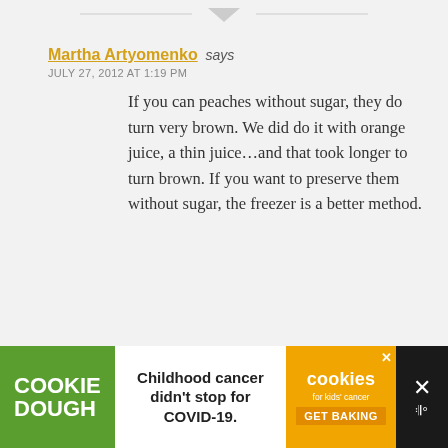Martha Artyomenko says
JULY 27, 2012 AT 1:19 PM
If you can peaches without sugar, they do turn very brown. We did do it with orange juice, a thin juice…and that took longer to turn brown. If you want to preserve them without sugar, the freezer is a better method.
[Figure (screenshot): Advertisement banner: Cookie Dough / Childhood cancer didn't stop for COVID-19. / Cookies for kids' cancer GET BAKING]